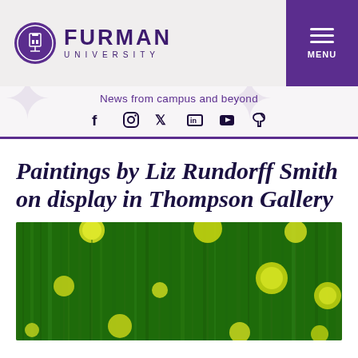Furman University — MENU
News from campus and beyond
[Figure (other): Social media icons: Facebook, Instagram, Twitter, LinkedIn, YouTube, TikTok]
Paintings by Liz Rundorff Smith on display in Thompson Gallery
[Figure (photo): Abstract painting with green background and yellow circular shapes, blurry vertical brushstrokes]